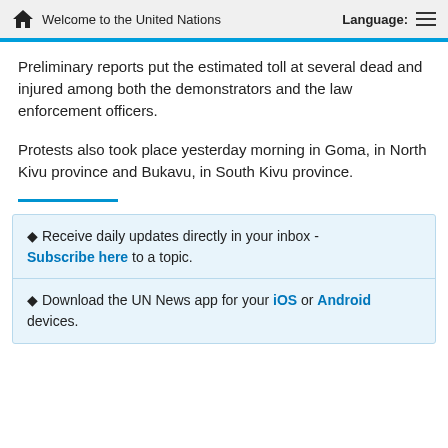Welcome to the United Nations   Language:
Preliminary reports put the estimated toll at several dead and injured among both the demonstrators and the law enforcement officers.
Protests also took place yesterday morning in Goma, in North Kivu province and Bukavu, in South Kivu province.
♦ Receive daily updates directly in your inbox - Subscribe here to a topic.
♦ Download the UN News app for your iOS or Android devices.